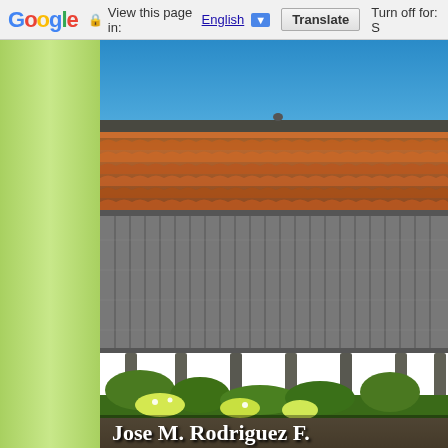Google  View this page in: English [▼]  Translate  Turn off for: S
[Figure (photo): A traditional Asturian hórreo (raised granary) with a terracotta tile roof and weathered wooden plank walls, elevated on stone pillars. Surrounded by green trees and vegetation under a clear blue sky. White text at the bottom reads 'Jose M. Rodriguez F.']
Jose M. Rodriguez F.